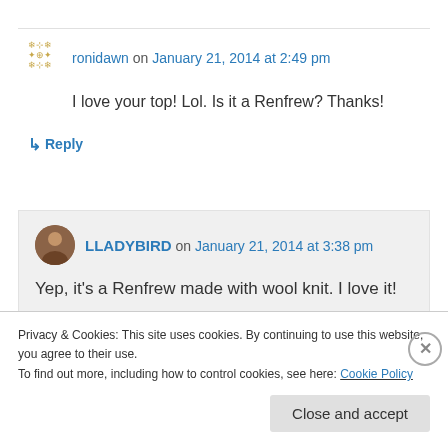ronidawn on January 21, 2014 at 2:49 pm
I love your top! Lol. Is it a Renfrew? Thanks!
↳ Reply
LLADYBIRD on January 21, 2014 at 3:38 pm
Yep, it's a Renfrew made with wool knit. I love it!
Privacy & Cookies: This site uses cookies. By continuing to use this website, you agree to their use.
To find out more, including how to control cookies, see here: Cookie Policy
Close and accept